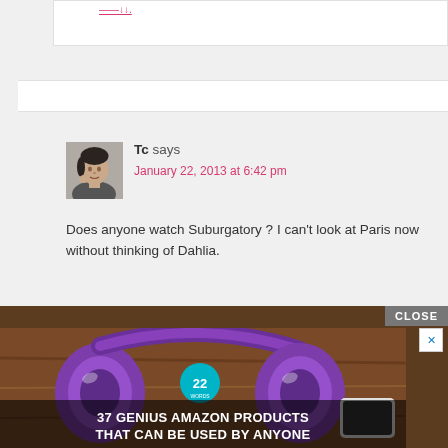[Previous comment partially visible at top]
Tc says
January 22, 2013 at 6:42 pm

Does anyone watch Suburgatory ? I can't look at Paris now without thinking of Dahlia.
Reply
[Figure (photo): Advertisement showing purple/metallic headphones on a wooden surface with a badge labeled '22'. Text overlay reads '37 GENIUS AMAZON PRODUCTS THAT CAN BE USED BY ANYONE'. Has a CLOSE button and X dismiss button.]